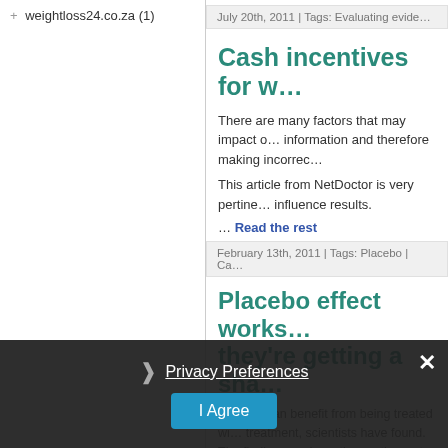+ weightloss24.co.za (1)
July 20th, 2011 | Tags: Evaluating evide…
Cash incentives for w…
There are many factors that may impact o… information and therefore making incorrec…
This article from NetDoctor is very pertine… influence results.
… Read the rest
February 13th, 2011 | Tags: Placebo | Ca…
Placebo effect works… they're getting a sha…
Placebo can benefit from being treated wi… treatment, scientists have found. The findi… any deception on the part of the d…
Privacy Preferences
I Agree